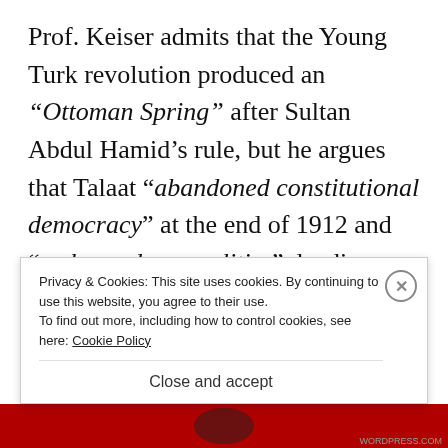Prof. Keiser admits that the Young Turk revolution produced an “Ottoman Spring” after Sultan Abdul Hamid’s rule, but he argues that Talaat “abandoned constitutional democracy” at the end of 1912 and “embraced war politics”, leading an “Ottoman mobilization for war” in the Balkans through propaganda and mass rallies in Istanbul. Keiser depicts the C.U.P. as being ready to meet the challenge of the Balkan Christians, who themselves were mobilizing for war, rather than being victims
Privacy & Cookies: This site uses cookies. By continuing to use this website, you agree to their use.
To find out more, including how to control cookies, see here: Cookie Policy
Close and accept